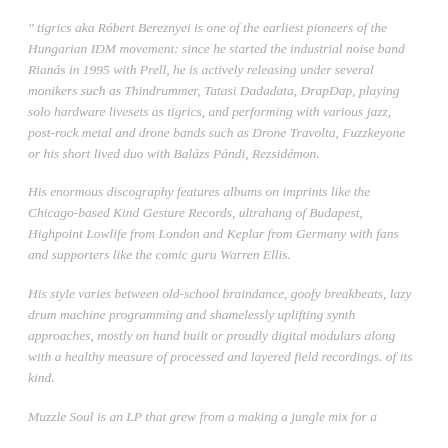" tigrics aka Róbert Bereznyei is one of the earliest pioneers of the Hungarian IDM movement: since he started the industrial noise band Rianás in 1995 with Prell, he is actively releasing under several monikers such as Thindrummer, Tatasi Dadadata, DrapDap, playing solo hardware livesets as tigrics, and performing with various jazz, post-rock metal and drone bands such as Drone Travolta, Fuzzkeyone or his short lived duo with Balázs Pándi, Rezsidémon.
His enormous discography features albums on imprints like the Chicago-based Kind Gesture Records, ultrahang of Budapest, Highpoint Lowlife from London and Keplar from Germany with fans and supporters like the comic guru Warren Ellis.
His style varies between old-school braindance, goofy breakbeats, lazy drum machine programming and shamelessly uplifting synth approaches, mostly on hand built or proudly digital modulars along with a healthy measure of processed and layered field recordings. of its kind.
Muzzle Soul is an LP that grew from a making a jungle mix for a